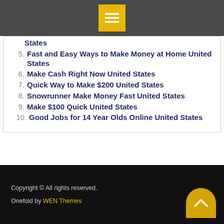☰ (menu icon)
States
5. Fast and Easy Ways to Make Money at Home United States
6. Make Cash Right Now United States
7. Quick Way to Make $200 United States
8. Snowrunner Make Money Fast United States
9. Make $100 Quick United States
10. Good Jobs for 14 Year Olds Online United States
Copyright © All rights reserved. Onefold by WEN Themes